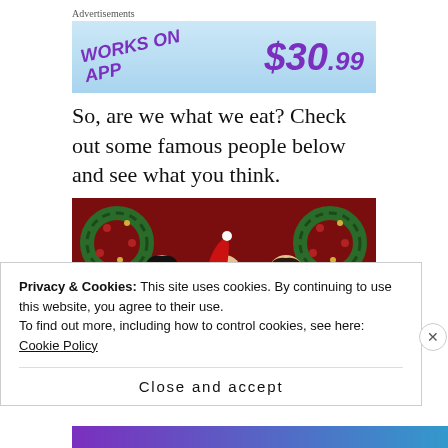Advertisements
[Figure (photo): Advertisement banner with light blue background showing 'WORKS ON APP' text and '$30.99' price in purple bold italic font]
So, are we what we eat? Check out some famous people below and see what you think.
[Figure (photo): Photo of three men posing in front of a red background with Christmas wreaths and decorations; the middle person is wearing a Santa hat]
Privacy & Cookies: This site uses cookies. By continuing to use this website, you agree to their use.
To find out more, including how to control cookies, see here:
Cookie Policy
Close and accept